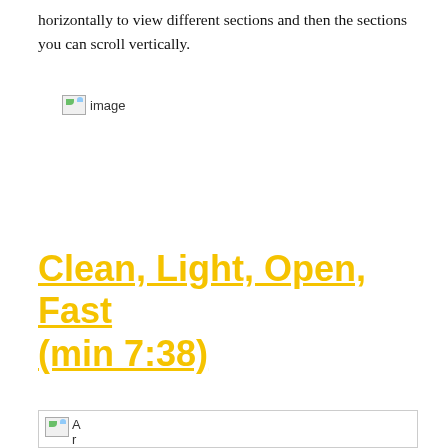horizontally to view different sections and then the sections you can scroll vertically.
[Figure (other): Broken/placeholder image thumbnail labeled 'image']
Clean, Light, Open, Fast (min 7:38)
[Figure (other): Broken/placeholder image thumbnail in a bordered box, labeled 'A r']